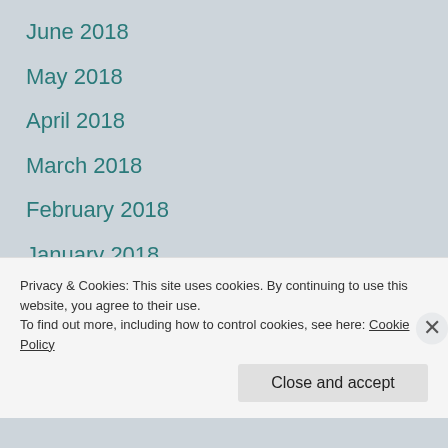June 2018
May 2018
April 2018
March 2018
February 2018
January 2018
December 2017
November 2017
Privacy & Cookies: This site uses cookies. By continuing to use this website, you agree to their use.
To find out more, including how to control cookies, see here: Cookie Policy
Close and accept